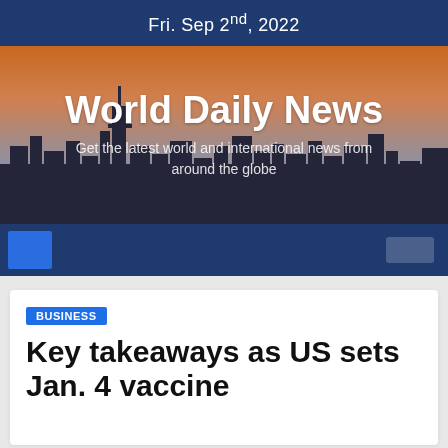Fri. Sep 2nd, 2022
[Figure (illustration): Hero banner showing a city skyline silhouette against an orange and grey sunset sky, with the text 'World Daily News' and subtitle 'Get the latest world and international news from around the globe' overlaid in white.]
World Daily News
Get the latest world and international news from around the globe
BUSINESS
Key takeaways as US sets Jan. 4 vaccine